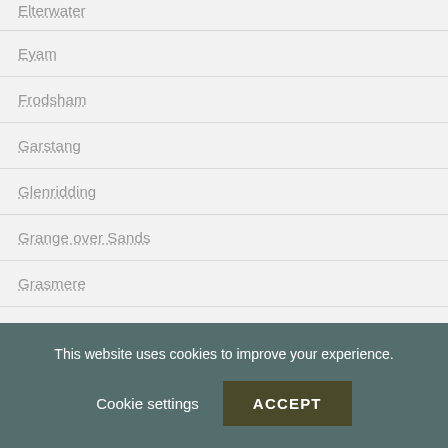Elterwater
Eyam
Frodsham
Garstang
Glenridding
Grange over Sands
Grasmere
Grassington
Hartington
This website uses cookies to improve your experience.
Cookie settings
ACCEPT